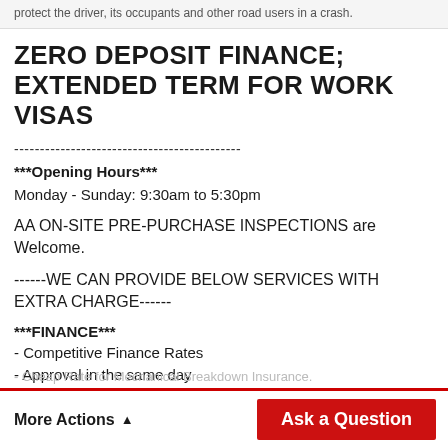protect the driver, its occupants and other road users in a crash.
ZERO DEPOSIT FINANCE; EXTENDED TERM FOR WORK VISAS
--------------------------------------------
***Opening Hours***
Monday - Sunday: 9:30am to 5:30pm
AA ON-SITE PRE-PURCHASE INSPECTIONS are Welcome.
------WE CAN PROVIDE BELOW SERVICES WITH EXTRA CHARGE------
***FINANCE***
- Competitive Finance Rates
- Approval in the same day
- Cheap Rate for Mechanical Breakdown Insurance.